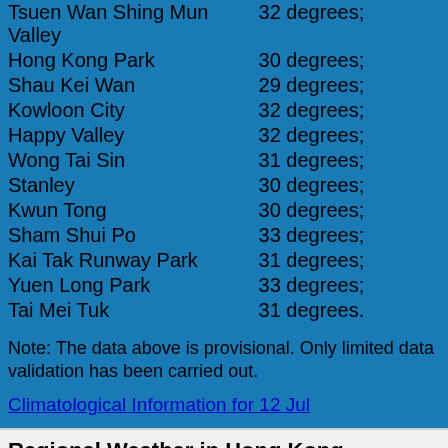| Location | Temperature |
| --- | --- |
| Tsuen Wan Shing Mun Valley | 32 degrees; |
| Hong Kong Park | 30 degrees; |
| Shau Kei Wan | 29 degrees; |
| Kowloon City | 32 degrees; |
| Happy Valley | 32 degrees; |
| Wong Tai Sin | 31 degrees; |
| Stanley | 30 degrees; |
| Kwun Tong | 30 degrees; |
| Sham Shui Po | 33 degrees; |
| Kai Tak Runway Park | 31 degrees; |
| Yuen Long Park | 33 degrees; |
| Tai Mei Tuk | 31 degrees. |
Note: The data above is provisional. Only limited data validation has been carried out.
Climatological Information for 12 Jul
Regional Weather in Hong Kong
Regional Weather in Hong Kong
King's Park Meteorological Station
Rainfall Distribution Map